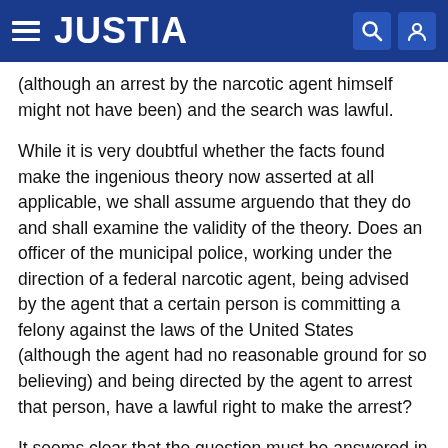JUSTIA
(although an arrest by the narcotic agent himself might not have been) and the search was lawful.
While it is very doubtful whether the facts found make the ingenious theory now asserted at all applicable, we shall assume arguendo that they do and shall examine the validity of the theory. Does an officer of the municipal police, working under the direction of a federal narcotic agent, being advised by the agent that a certain person is committing a felony against the laws of the United States (although the agent had no reasonable ground for so believing) and being directed by the agent to arrest that person, have a lawful right to make the arrest?
It seems clear that the question must be answered in the negative. The immunities granted by the Fourth Amendment would be valueless if they could be